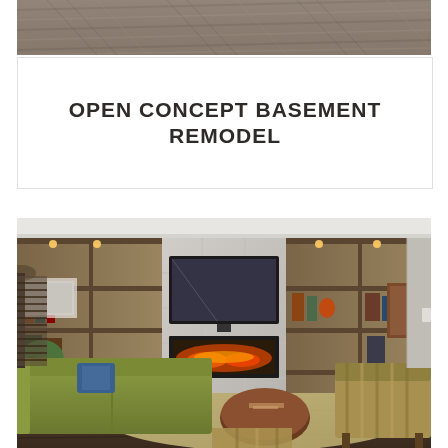[Figure (photo): Close-up photo of grey/brown wood-grain flooring or laminate viewed from above at an angle]
OPEN CONCEPT BASEMENT REMODEL
[Figure (photo): Interior photo of a finished basement living room featuring a green sofa, striped armchair, round wooden coffee table, large flat-screen TV mounted above a linear electric fireplace, flanked by built-in shelving units with decorative items and warm lighting, light grey tile surround, and dark hardwood flooring with an area rug]